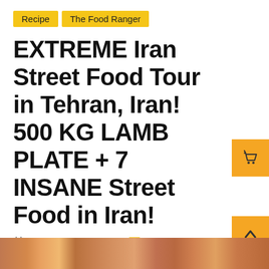Recipe
The Food Ranger
EXTREME Iran Street Food Tour in Tehran, Iran! 500 KG LAMB PLATE + 7 INSANE Street Food in Iran!
November 30, 2019   30 Comments
[Figure (photo): Photo strip at bottom of page showing street food imagery]